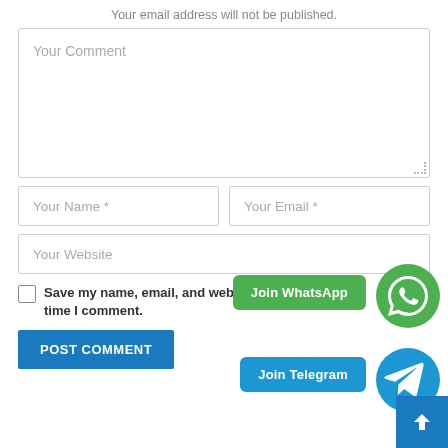Your email address will not be published.
[Figure (screenshot): Comment form with text area labeled 'Your Comment', input fields for 'Your Name *' and 'Your Email *', 'Your Website' field, a checkbox with 'Save my name, email, and website in this browser for the next time I comment.', a 'POST COMMENT' button, 'Join WhatsApp' and 'Join Telegram' buttons with circular icons, and a blue scroll-to-top arrow button.]